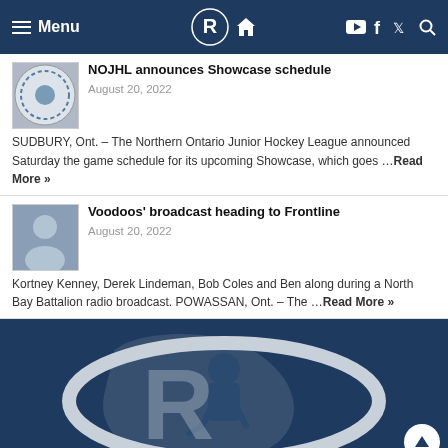Menu | [logo] [home] | [youtube] [facebook] [twitter] [search]
NOJHL announces Showcase schedule
August 20, 2022
SUDBURY, Ont. – The Northern Ontario Junior Hockey League announced Saturday the game schedule for its upcoming Showcase, which goes …Read More »
Voodoos' broadcast heading to Frontline
August 20, 2022
Kortney Kenney, Derek Lindeman, Bob Coles and Ben along during a North Bay Battalion radio broadcast. POWASSAN, Ont. – The …Read More »
[Figure (logo): Powassan Voodoos hockey team logo on dark navy background — large white and grey stylized P with hockey player silhouette]